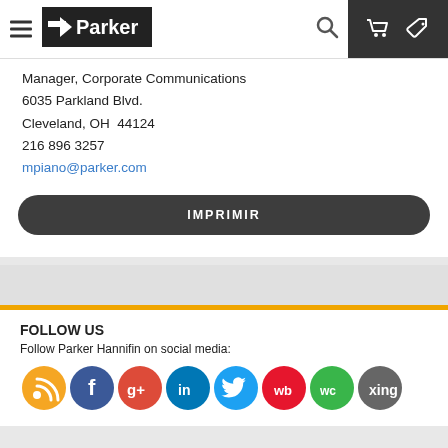Parker [logo] navigation bar with hamburger menu, search, cart and tag icons
Manager, Corporate Communications
6035 Parkland Blvd.
Cleveland, OH  44124
216 896 3257
mpiano@parker.com
IMPRIMIR
FOLLOW US
Follow Parker Hannifin on social media:
[Figure (infographic): Row of social media icons: RSS (orange), Facebook (blue), Google+ (red), LinkedIn (blue), Twitter (teal), Weibo (red), WeChat (green), Xing (grey), YouTube (red)]